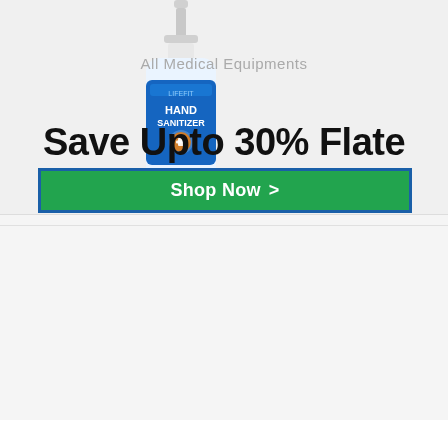[Figure (illustration): Hand sanitizer bottle (pump dispenser) with blue label reading HAND SANITIZER, centered at top of page]
All Medical Equipments
Save Upto 30% Flate
Shop Now >